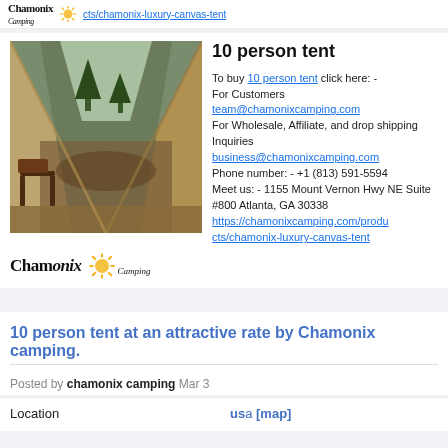cts/chamonix-luxury-canvas-tent
[Figure (photo): Interior view of a canvas tent looking out at a rocky landscape with trees; a wooden chair is visible inside]
10 person tent
To buy 10 person tent click here: - For Customers team@chamonixcamping.com For Wholesale, Affiliate, and drop shipping Inquiries business@chamonixcamping.com Phone number: - +1 (813) 591-5594 Meet us: - 1155 Mount Vernon Hwy NE Suite #800 Atlanta, GA 30338 https://chamonixcamping.com/products/chamonix-luxury-canvas-tent
[Figure (logo): Chamonix Camping logo with sun icon]
10 person tent at an attractive rate by Chamonix camping.
Posted by chamonix camping Mar 3
Location  usa [map]